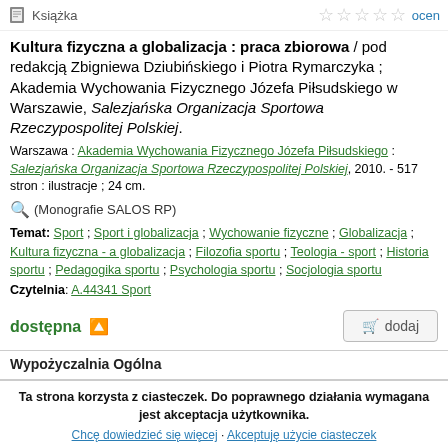Książka | ocen
Kultura fizyczna a globalizacja : praca zbiorowa / pod redakcją Zbigniewa Dziubińskiego i Piotra Rymarczyka ; Akademia Wychowania Fizycznego Józefa Piłsudskiego w Warszawie, Salezjańska Organizacja Sportowa Rzeczypospolitej Polskiej.
Warszawa : Akademia Wychowania Fizycznego Józefa Piłsudskiego : Salezjańska Organizacja Sportowa Rzeczypospolitej Polskiej, 2010. - 517 stron : ilustracje ; 24 cm.
(Monografie SALOS RP)
Temat: Sport ; Sport i globalizacja ; Wychowanie fizyczne ; Globalizacja ; Kultura fizyczna - a globalizacja ; Filozofia sportu ; Teologia - sport ; Historia sportu ; Pedagogika sportu ; Psychologia sportu ; Socjologia sportu
Czytelnia: A.44341 Sport
dostępna
dodaj
Wypożyczalnia Ogólna
Ta strona korzysta z ciasteczek. Do poprawnego działania wymagana jest akceptacja użytkownika.
Chcę dowiedzieć się więcej · Akceptuję użycie ciasteczek